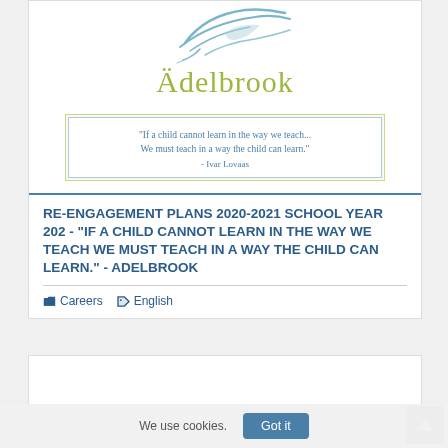[Figure (logo): Adelbrook logo with stylized bird/dove in light blue and brand name 'Ädelbrook' in olive/yellow-green serif font]
"If a child cannot learn in the way we teach... We must teach in a way the child can learn." - Ivar Lovaas
RE-ENGAGEMENT PLANS 2020-2021 SCHOOL YEAR 202 - "IF A CHILD CANNOT LEARN IN THE WAY WE TEACH WE MUST TEACH IN A WAY THE CHILD CAN LEARN." - ADELBROOK
Careers
English
We use cookies.